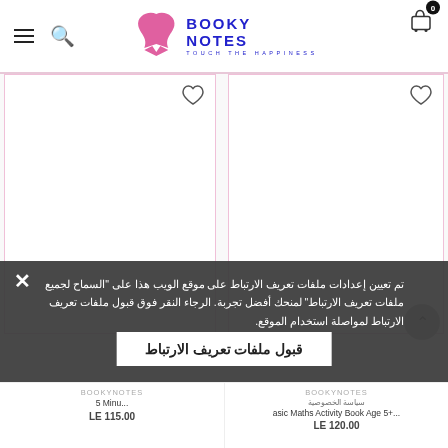[Figure (screenshot): Booky Notes website header with logo (pink bird icon, blue BOOKY NOTES text, TOUCH THE HAPPINESS tagline), hamburger menu, search icon, and cart icon with badge showing 0]
[Figure (other): Two product cards with pink borders and heart/wishlist icons, product images area is blank/white]
تم تعيين إعدادات ملفات تعريف الارتباط على موقع الويب هذا على "السماح لجميع ملفات تعريف الارتباط" لمنحك أفضل تجربة. الرجاء النقر فوق قبول ملفات تعريف الارتباط لمواصلة استخدام الموقع
قبول ملفات تعريف الارتباط
BOOKYNOTES
5 Minu...
LE 115.00
BOOKYNOTES
سياسة الخصوصية
asic Maths Activity Book Age 5+...
LE 120.00